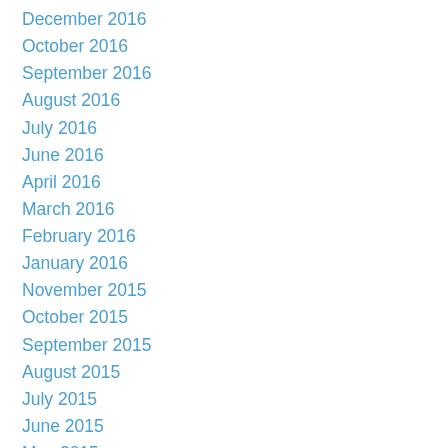December 2016
October 2016
September 2016
August 2016
July 2016
June 2016
April 2016
March 2016
February 2016
January 2016
November 2015
October 2015
September 2015
August 2015
July 2015
June 2015
May 2015
March 2015
February 2015
December 2014
November 2014